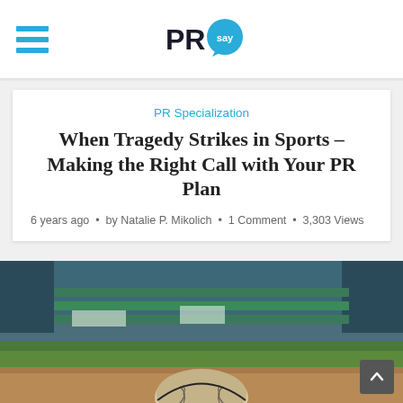PRsay
PR Specialization
When Tragedy Strikes in Sports – Making the Right Call with Your PR Plan
6 years ago · by Natalie P. Mikolich · 1 Comment · 3,303 Views
[Figure (photo): A worn baseball resting on a baseball field dirt, with a blurred stadium and green bleachers in the background]